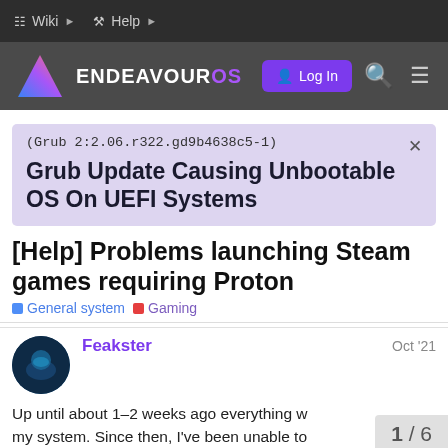Wiki  Help
[Figure (logo): EndeavourOS logo with purple triangle and text 'ENDEAVOUROS', with Log In button, search icon, and hamburger menu]
(Grub 2:2.06.r322.gd9b4638c5-1)
Grub Update Causing Unbootable OS On UEFI Systems
[Help] Problems launching Steam games requiring Proton
General system  Gaming
Feakster  Oct '21
Up until about 1–2 weeks ago everything w... my system. Since then, I've been unable to
1 / 6